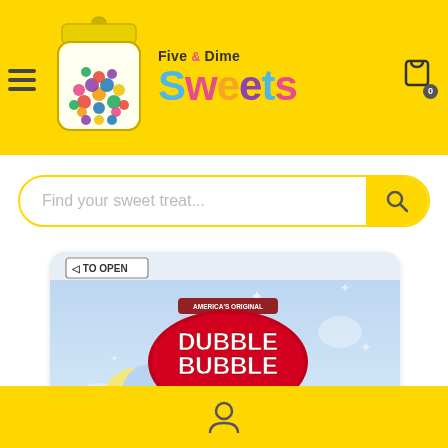[Figure (screenshot): Five & Dime Sweets candy shop website header with yellow background, hamburger menu icon, candy jar logo with colorful candy balls, 'Five & Dime Sweets' branding in multicolored text, and shopping cart icon with badge showing 0]
[Figure (screenshot): Search bar with placeholder text 'Find your sweet treat...' and yellow search button with magnifying glass icon]
[Figure (photo): Dubble Bubble Gum Balls product package with blue background showing night sky, crescent moon, stars, 'TO OPEN' arrow tab, 'AMERICA'S ORIGINAL' text, 'DUBBLE BUBBLE GUM BALLS' in red oval logo, and 'delicious fruit flavor' text]
[Figure (screenshot): Yellow footer bar with person/user account icon in center]